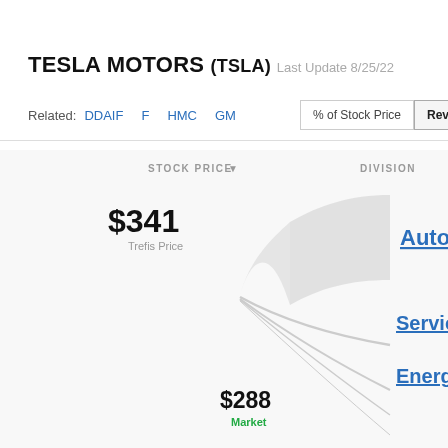TESLA MOTORS (TSLA) Last Update 8/25/22
Related: DDAIF  F  HMC  GM
[Figure (infographic): Trefis interactive stock price breakdown diagram showing $341 Trefis Price and $288 Market price with flow ribbons connecting to divisions: Auto, Services, Energy]
STOCK PRICE ▼
DIVISION
$341 Trefis Price
$288 Market
Auto
Services
Energy